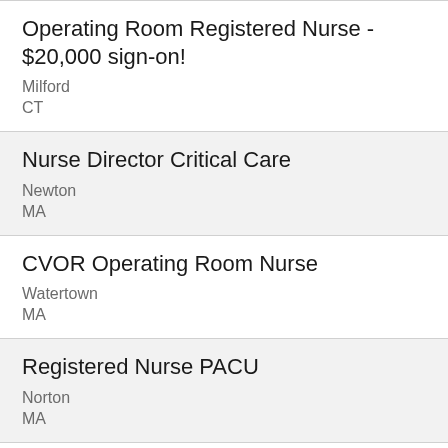Operating Room Registered Nurse - $20,000 sign-on!
Milford
CT
Nurse Director Critical Care
Newton
MA
CVOR Operating Room Nurse
Watertown
MA
Registered Nurse PACU
Norton
MA
Assistant Nurse Manager PACU